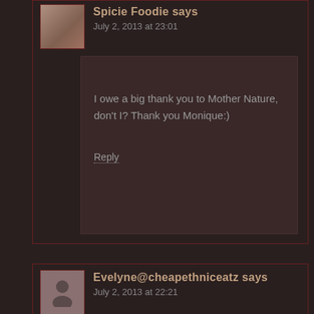Spicie Foodie says
July 2, 2013 at 23:01
I owe a big thank you to Mother Nature, don't I? Thank you Monique:)
Reply
Evelyne@cheapethniceatz says
July 2, 2013 at 22:21